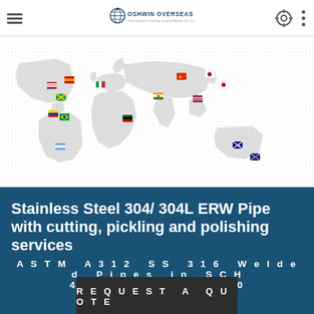Oshwin Overseas — Passionately Crafting Quality Metals On Time
[Figure (map): World map with country flags marking export destinations including Spain, Italy, India, China, South Korea, Japan, Thailand, Kenya, Australia, New Zealand, USA, Jamaica, Colombia, Brazil, Argentina]
Stainless Steel 304/ 304L ERW Pipe with cutting, pickling and polishing services
ASTM A312 SS 316 Welded Pipes in SCH 40/ 60/ 80/ 160
REQUEST A QUOTE